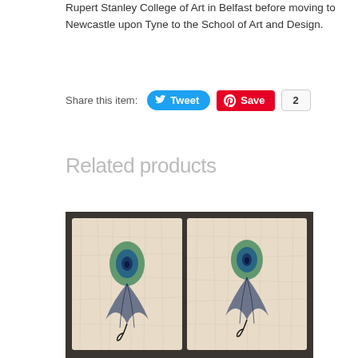Rupert Stanley College of Art in Belfast before moving to Newcastle upon Tyne to the School of Art and Design.
Share this item:
[Figure (screenshot): Tweet and Save/Pinterest share buttons with count of 2]
Related products
[Figure (photo): Two ceramic tiles with peacock feather artwork, blue and green design on crackle-glaze cream background, displayed on a dark rocky/mossy surface]